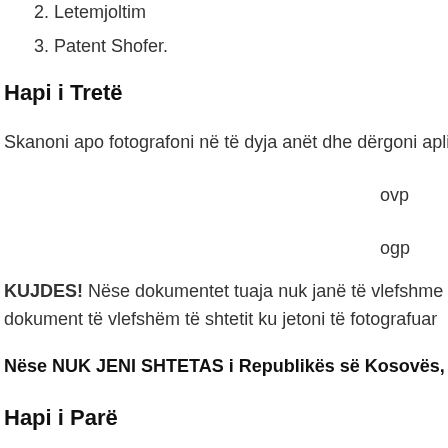2. Letemjoltim
3. Patent Shofer.
Hapi i Tretë
Skanoni apo fotografoni në të dyja anët dhe dërgoni apli
ovp
ogp
KUJDES! Nëse dokumentet tuaja nuk janë të vlefshme p dokument të vlefshëm të shtetit ku jetoni të fotografuar
Nëse NUK JENI SHTETAS i Republikës së Kosovës, por K
Hapi i Parë